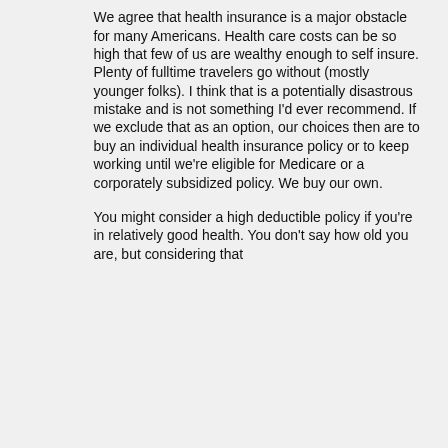We agree that health insurance is a major obstacle for many Americans. Health care costs can be so high that few of us are wealthy enough to self insure. Plenty of fulltime travelers go without (mostly younger folks). I think that is a potentially disastrous mistake and is not something I'd ever recommend. If we exclude that as an option, our choices then are to buy an individual health insurance policy or to keep working until we're eligible for Medicare or a corporately subsidized policy. We buy our own.
You might consider a high deductible policy if you're in relatively good health. You don't say how old you are, but considering that